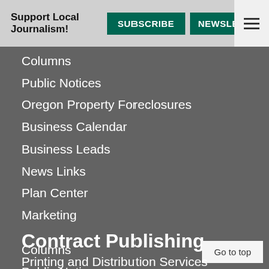Support Local Journalism! SUBSCRIBE NEWSLETTER
Columns
Public Notices
Oregon Property Foreclosures
Business Calendar
Business Leads
News Links
Plan Center
Marketing
Columns
Public Notices
Oregon Property Foreclosures
Business Calendar
Business Leads
News Links
Plan Center
Marketing
Contract Publishing
Printing and Distribution Services